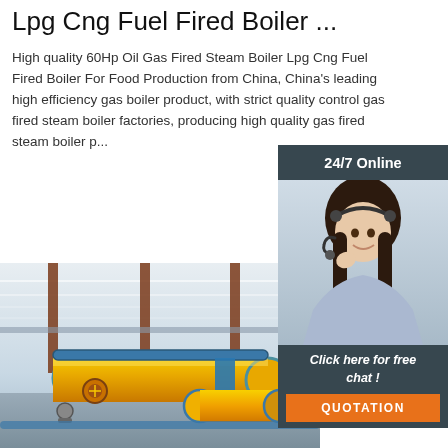Lpg Cng Fuel Fired Boiler ...
High quality 60Hp Oil Gas Fired Steam Boiler Lpg Cng Fuel Fired Boiler For Food Production from China, China's leading high efficiency gas boiler product, with strict quality control gas fired steam boiler factories, producing high quality gas fired steam boiler p...
[Figure (other): Orange 'Get Price' button]
[Figure (other): 24/7 Online chat widget with customer service representative photo, 'Click here for free chat!' text, and QUOTATION button]
[Figure (photo): Photo of large yellow industrial boilers inside a factory building with blue piping]